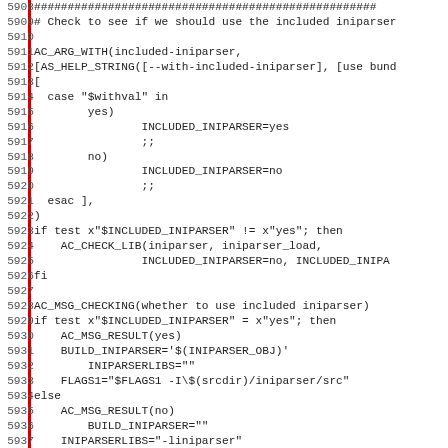Code listing lines 5908-5939, shell/autoconf script checking for included iniparser